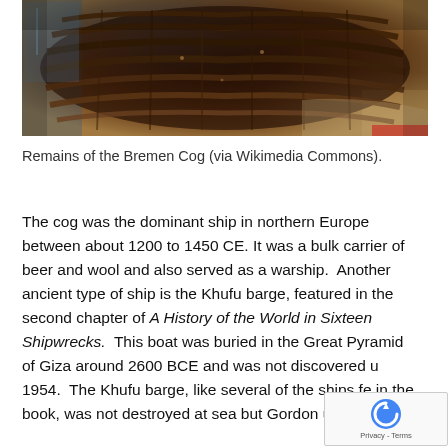[Figure (photo): Photograph of the remains of the Bremen Cog, a medieval wooden ship on display, showing the dark brown wooden hull planks and structure from above, with a museum or exhibition setting visible in the background.]
Remains of the Bremen Cog (via Wikimedia Commons).
The cog was the dominant ship in northern Europe between about 1200 to 1450 CE. It was a bulk carrier of beer and wool and also served as a warship.  Another ancient type of ship is the Khufu barge, featured in the second chapter of A History of the World in Sixteen Shipwrecks.  This boat was buried in the Great Pyramid of Giza around 2600 BCE and was not discovered u 1954.  The Khufu barge, like several of the ships fe in the book, was not destroyed at sea but Gordon uses a